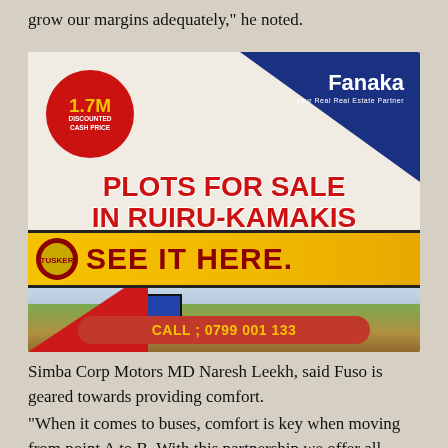grow our margins adequately,” he noted.
[Figure (infographic): Real estate advertisement for Fanaka. Shows 1.7M discounted cash price in red circle, 'PLOTS FOR SALE IN RUIRU-KAMAKIS' in red text, 'SEE IT HERE.' on a yellow banner with Tusker logo, a photo of land plots with gate, and 'CALL ; 0799 001 133' on red banner.]
Simba Corp Motors MD Naresh Leekh, said Fuso is geared towards providing comfort.
“When it comes to buses, comfort is key when moving from point A to B. With this partnership we offer all passengers